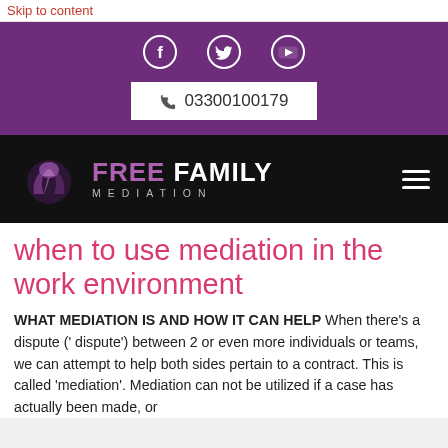Skip to content
[Figure (screenshot): Purple header bar with Facebook, Twitter, and YouTube social media icons, and a white phone number box showing 03300100179]
[Figure (logo): Free Family Mediation logo on black background with purple/mauve dove icon and hamburger menu icon on right]
when to use mediation in the work environment
WHAT MEDIATION IS AND HOW IT CAN HELP When there's a dispute (' dispute') between 2 or even more individuals or teams, we can attempt to help both sides pertain to a contract. This is called 'mediation'. Mediation can not be utilized if a case has actually been made, or